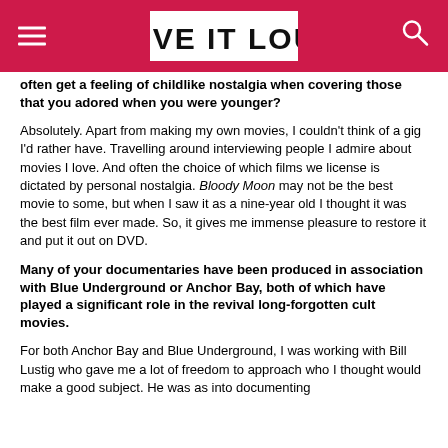LOVE IT LOUD
often get a feeling of childlike nostalgia when covering those that you adored when you were younger?
Absolutely. Apart from making my own movies, I couldn't think of a gig I'd rather have. Travelling around interviewing people I admire about movies I love. And often the choice of which films we license is dictated by personal nostalgia. Bloody Moon may not be the best movie to some, but when I saw it as a nine-year old I thought it was the best film ever made. So, it gives me immense pleasure to restore it and put it out on DVD.
Many of your documentaries have been produced in association with Blue Underground or Anchor Bay, both of which have played a significant role in the revival long-forgotten cult movies.
For both Anchor Bay and Blue Underground, I was working with Bill Lustig who gave me a lot of freedom to approach who I thought would make a good subject. He was as into documenting the making of these films as I was from. Both of…